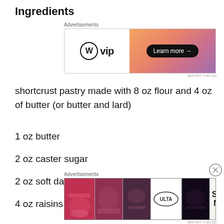Ingredients
[Figure (other): WordPress VIP advertisement banner with gradient orange-pink background and 'Learn more →' button]
shortcrust pastry made with 8 oz flour and 4 oz of butter (or butter and lard)
1 oz butter
2 oz caster sugar
2 oz soft dark brown sugar
4 oz raisins
[Figure (other): ULTA beauty advertisement with makeup photos and 'SHOP NOW' call to action]